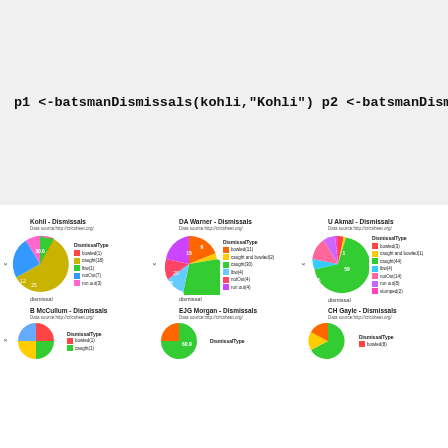p1 <-batsmanDismissals(kohli,"Kohli")
p2 <-batsmanDismissals(warner, "DA Warner")
p3 <-batsmanDismissals(akmal,"U Akmal")
p4 <-batsmanDismissals(mccullum,"BB McCullum")
p5 <-batsmanDismissals(emorgan,"EJG Morgan")
p6 <-batsmanDismissals(gayle,"CH Gayle")
grid.arrange(p1,p2,p3,p4,p5,p6, ncol=3)
[Figure (pie-chart): Kohli - Dismissals]
[Figure (pie-chart): DA Warner - Dismissals]
[Figure (pie-chart): U Akmal - Dismissals]
[Figure (pie-chart): B McCullum - Dismissals]
[Figure (pie-chart): EJG Morgan - Dismissals]
[Figure (pie-chart): CH Gayle - Dismissals]